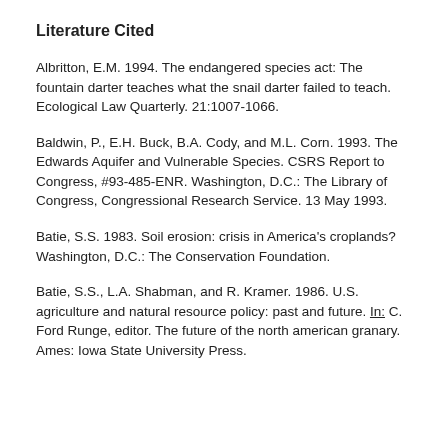Literature Cited
Albritton, E.M. 1994. The endangered species act: The fountain darter teaches what the snail darter failed to teach. Ecological Law Quarterly. 21:1007-1066.
Baldwin, P., E.H. Buck, B.A. Cody, and M.L. Corn. 1993. The Edwards Aquifer and Vulnerable Species. CSRS Report to Congress, #93-485-ENR. Washington, D.C.: The Library of Congress, Congressional Research Service. 13 May 1993.
Batie, S.S. 1983. Soil erosion: crisis in America's croplands? Washington, D.C.: The Conservation Foundation.
Batie, S.S., L.A. Shabman, and R. Kramer. 1986. U.S. agriculture and natural resource policy: past and future. In: C. Ford Runge, editor. The future of the north american granary. Ames: Iowa State University Press.